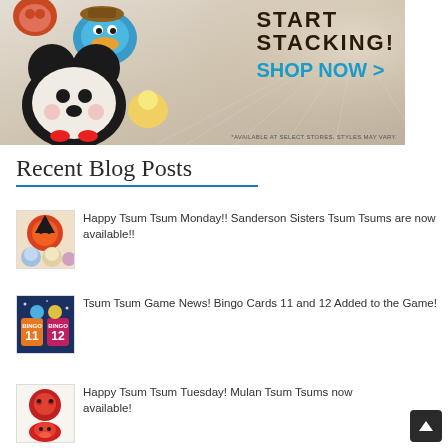[Figure (illustration): Disney Tsum Tsum promotional banner showing stacked plush toys (Mickey Mouse, Perry the Platypus, others) with text 'START STACKING! SHOP NOW >' and fine print '*AVAILABLE AT SELECT STORES. STYLES MAY VARY.']
Recent Blog Posts
[Figure (photo): Thumbnail image of Sanderson Sisters Tsum Tsum plush toys]
Happy Tsum Tsum Monday!! Sanderson Sisters Tsum Tsums are now available!!
[Figure (photo): Thumbnail image showing Tsum Tsum Bingo Cards 11 and 12]
Tsum Tsum Game News! Bingo Cards 11 and 12 Added to the Game!
[Figure (photo): Thumbnail image of Mulan Tsum Tsum plush toys]
Happy Tsum Tsum Tuesday! Mulan Tsum Tsums now available!